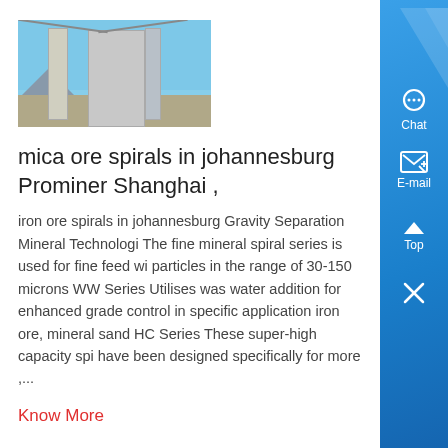[Figure (photo): Industrial structure or mineral processing equipment photographed against a blue sky with mountains in background]
mica ore spirals in johannesburg Prominer Shanghai ,
iron ore spirals in johannesburg Gravity Separation Mineral Technologi The fine mineral spiral series is used for fine feed wi particles in the range of 30-150 microns WW Series Utilises was water addition for enhanced grade control in specific application iron ore, mineral sand HC Series These super-high capacity spi have been designed specifically for more ,...
Know More